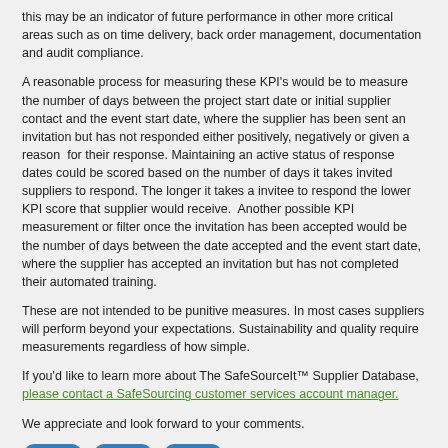this may be an indicator of future performance in other more critical areas such as on time delivery, back order management, documentation and audit compliance.
A reasonable process for measuring these KPI's would be to measure the number of days between the project start date or initial supplier contact and the event start date, where the supplier has been sent an invitation but has not responded either positively, negatively or given a reason  for their response. Maintaining an active status of response dates could be scored based on the number of days it takes invited suppliers to respond. The longer it takes a invitee to respond the lower KPI score that supplier would receive.  Another possible KPI measurement or filter once the invitation has been accepted would be the number of days between the date accepted and the event start date, where the supplier has accepted an invitation but has not completed their automated training.
These are not intended to be punitive measures. In most cases suppliers will perform beyond your expectations. Sustainability and quality require measurements regardless of how simple.
If you'd like to learn more about The SafeSourceIt™ Supplier Database, please contact a SafeSourcing customer services account manager.
We appreciate and look forward to your comments.
[Figure (other): Social media share buttons: Facebook, Twitter, and a share/plus button]